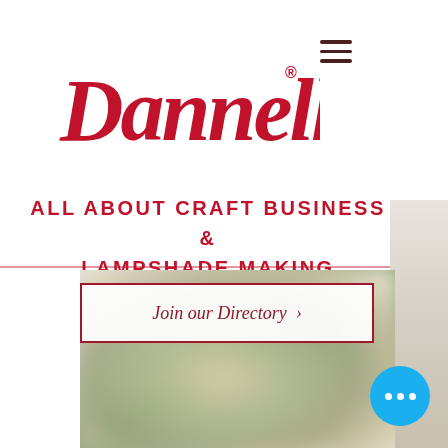[Figure (logo): Dannell's script logo in red with registered trademark symbol]
ALL ABOUT CRAFT BUSINESS & LAMPSHADE MAKING
[Figure (photo): Blurred photo of a lampshade with floral/botanical pattern, beige and grey tones]
Join our Directory >